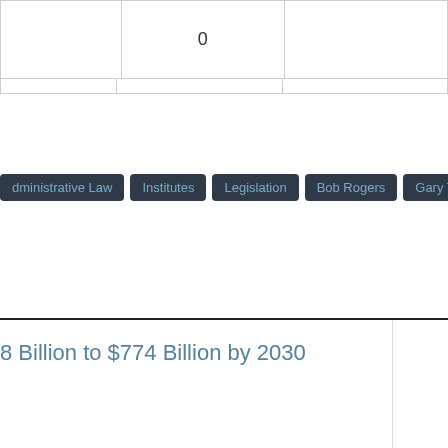|  | 0 |  |
Administrative Law
Institutes
Legislation
Bob Rogers
Gary Taxdahl
Louie
8 Billion to $774 Billion by 2030